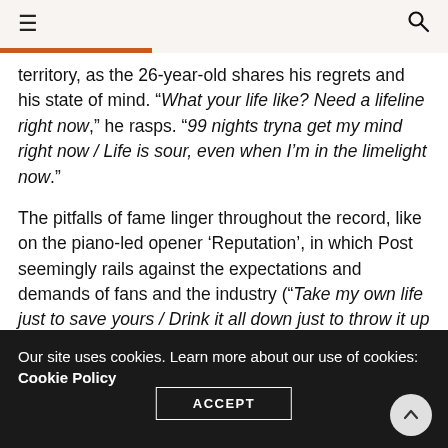☰  🔍
territory, as the 26-year-old shares his regrets and his state of mind. “What your life like? Need a lifeline right now,” he rasps. “99 nights tryna get my mind right now / Life is sour, even when I’m in the limelight now.”
The pitfalls of fame linger throughout the record, like on the piano-led opener ‘Reputation’, in which Post seemingly rails against the expectations and demands of fans and the industry (“Take my own life just to save yours / Drink it all down just to throw it up [...] I got a reputation, that I can’t deny / You’re the superstar, entertain us”). It’s a raw portrait
Our site uses cookies. Learn more about our use of cookies: Cookie Policy
ACCEPT